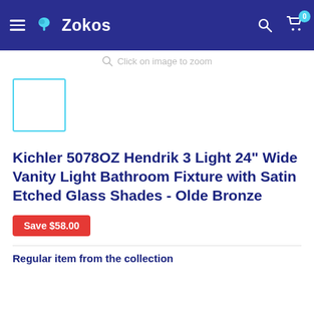Zokos
Click on image to zoom
[Figure (photo): Product thumbnail placeholder box with teal/cyan border]
Kichler 5078OZ Hendrik 3 Light 24" Wide Vanity Light Bathroom Fixture with Satin Etched Glass Shades - Olde Bronze
Save $58.00
Regular item from the collection